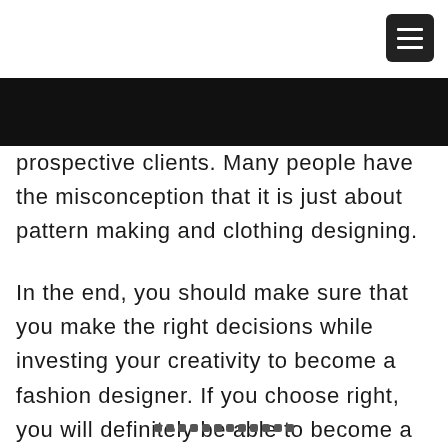[Figure (other): Hamburger menu button (three white horizontal lines on dark background) in top-right corner]
prospective clients. Many people have the misconception that it is just about pattern making and clothing designing.
In the end, you should make sure that you make the right decisions while investing your creativity to become a fashion designer. If you choose right, you will definitely be able to become a successful designer.
• • • • • • • • • • • •